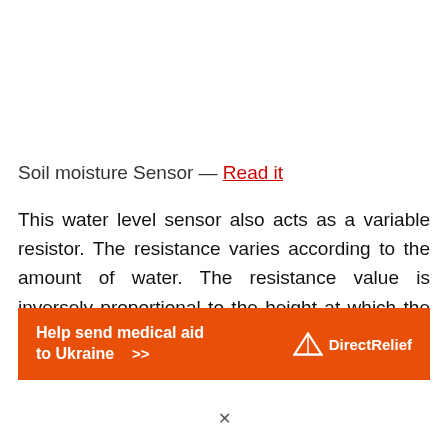Soil moisture Sensor — Read it
This water level sensor also acts as a variable resistor. The resistance varies according to the amount of water. The resistance value is inversely proportional to the height at which the sensor is submerged in water. When the sensor is submerged in more water, it
[Figure (other): Orange advertisement banner: 'Help send medical aid to Ukraine >>' with DirectRelief logo on the right]